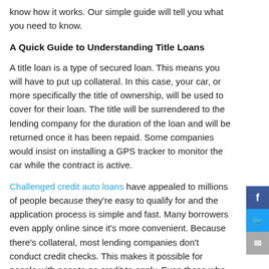know how it works. Our simple guide will tell you what you need to know.
A Quick Guide to Understanding Title Loans
A title loan is a type of secured loan. This means you will have to put up collateral. In this case, your car, or more specifically the title of ownership, will be used to cover for their loan. The title will be surrendered to the lending company for the duration of the loan and will be returned once it has been repaid. Some companies would insist on installing a GPS tracker to monitor the car while the contract is active.
Challenged credit auto loans have appealed to millions of people because they're easy to qualify for and the application process is simple and fast. Many borrowers even apply online since it's more convenient. Because there's collateral, most lending companies don't conduct credit checks. This makes it possible for people with poor to no credit to apply. Even those who are unemployed can apply as long as they can provide an alternate source of income.
Get You More Money than the Competition
You can borrow more money with Premier Loans Canada. This trusted lender can offer as much as $45,000 in loans. The